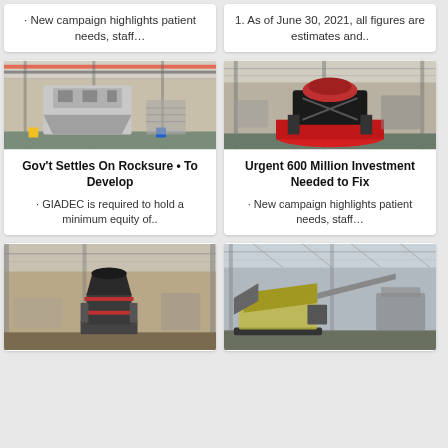· New campaign highlights patient needs, staff…
1. As of June 30, 2021, all figures are estimates and..
[Figure (photo): Industrial factory interior with large heavy machinery, cranes overhead, white/grey crusher equipment on factory floor]
Gov't Settles On Rocksure • To Develop
· GIADEC is required to hold a minimum equity of..
[Figure (photo): Industrial factory interior with large red and black cone crusher machine on circular red base, factory floor visible]
Urgent 600 Million Investment Needed to Fix
· New campaign highlights patient needs, staff…
[Figure (photo): Industrial warehouse interior with large vertical mill/grinder machine, high ceiling with steel structure]
[Figure (photo): Industrial factory interior with mobile crushing and screening equipment, conveyor belts visible]